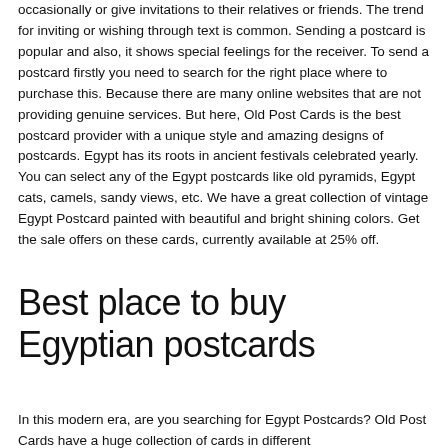occasionally or give invitations to their relatives or friends. The trend for inviting or wishing through text is common. Sending a postcard is popular and also, it shows special feelings for the receiver. To send a postcard firstly you need to search for the right place where to purchase this. Because there are many online websites that are not providing genuine services. But here, Old Post Cards is the best postcard provider with a unique style and amazing designs of postcards. Egypt has its roots in ancient festivals celebrated yearly. You can select any of the Egypt postcards like old pyramids, Egypt cats, camels, sandy views, etc. We have a great collection of vintage Egypt Postcard painted with beautiful and bright shining colors. Get the sale offers on these cards, currently available at 25% off.
Best place to buy Egyptian postcards
In this modern era, are you searching for Egypt Postcards? Old Post Cards have a huge collection of cards in different